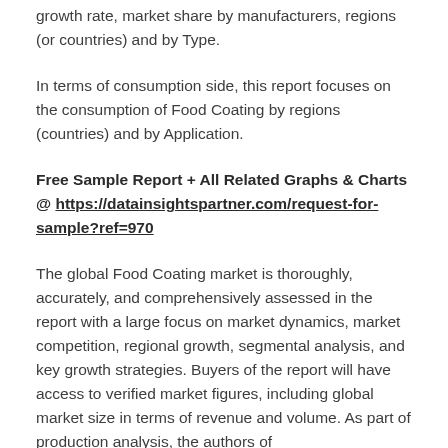growth rate, market share by manufacturers, regions (or countries) and by Type.
In terms of consumption side, this report focuses on the consumption of Food Coating by regions (countries) and by Application.
Free Sample Report + All Related Graphs & Charts @ https://datainsightspartner.com/request-for-sample?ref=970
The global Food Coating market is thoroughly, accurately, and comprehensively assessed in the report with a large focus on market dynamics, market competition, regional growth, segmental analysis, and key growth strategies. Buyers of the report will have access to verified market figures, including global market size in terms of revenue and volume. As part of production analysis, the authors of